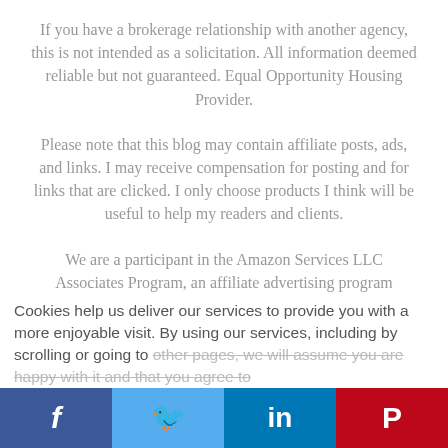If you have a brokerage relationship with another agency, this is not intended as a solicitation. All information deemed reliable but not guaranteed. Equal Opportunity Housing Provider.
Please note that this blog may contain affiliate posts, ads, and links. I may receive compensation for posting and for links that are clicked. I only choose products I think will be useful to help my readers and clients.
We are a participant in the Amazon Services LLC Associates Program, an affiliate advertising program designed to provide a means for us to earn fees by linking
Cookies help us deliver our services to provide you with a more enjoyable visit. By using our services, including by scrolling or going to other pages, we will assume you are happy with it and that you agree to